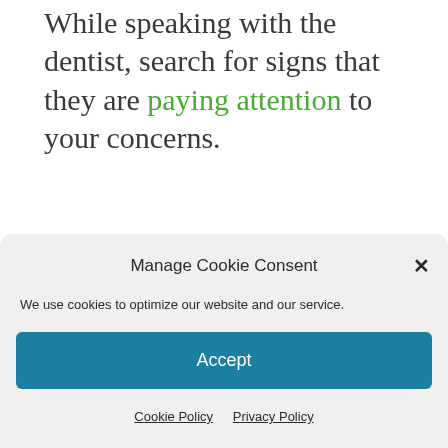While speaking with the dentist, search for signs that they are paying attention to your concerns.
Find a Dentist The...
[Figure (screenshot): Cookie consent modal overlay with title 'Manage Cookie Consent', close button (×), description text, Accept button, and links to Cookie Policy and Privacy Policy]